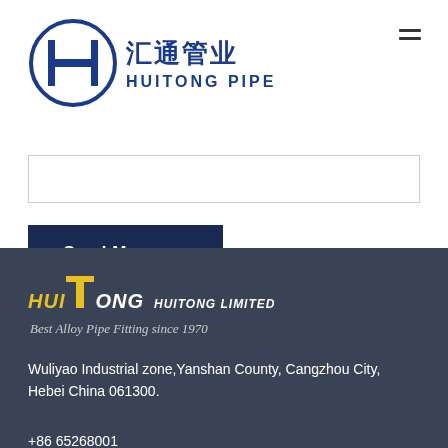[Figure (logo): Huitong Pipe logo with Chinese characters 汇通管业 and HUITONG PIPE text in blue]
[Figure (other): Hamburger menu icon (three horizontal lines)]
[Figure (other): Empty input/text area box with border]
Send Message
[Figure (logo): Huitong Limited footer logo with yellow T and HUITONG LIMITED text]
Best Alloy Pipe Fitting since 1970
Wuliyao Industrial zone,Yanshan County, Cangzhou City, Hebei China 061300.
+86 65268001